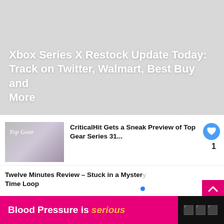[Figure (photo): Hero image with light gray textured background (dot pattern), overlaid with white bold title text.]
Xbox Series X Restock Update Today: Track on Twitter, Walmart, Best Buy and More
[Figure (photo): Thumbnail image for Top Gear article — gray/purple gradient with 'Top Gear' text visible.]
CriticalHit Gets a Sneak Preview of Top Gear Series 31...
Twelve Minutes Review – Stuck in a Mystery Time Loop
WHAT'S NEXT → E3 2012: What to expect fro...
...nd Future
Blood Pressure is serious